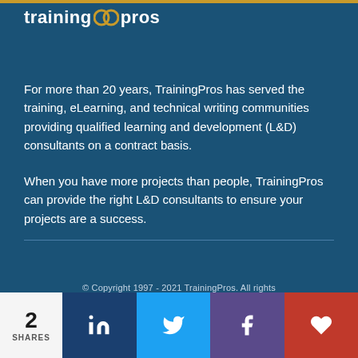[Figure (logo): TrainingPros logo with two interlocking rings and white text on dark blue background]
For more than 20 years, TrainingPros has served the training, eLearning, and technical writing communities providing qualified learning and development (L&D) consultants on a contract basis.
When you have more projects than people, TrainingPros can provide the right L&D consultants to ensure your projects are a success.
© Copyright 1997 - 2021 TrainingPros. All rights Reserved.